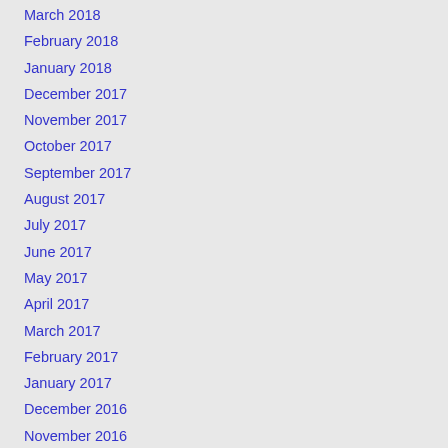March 2018
February 2018
January 2018
December 2017
November 2017
October 2017
September 2017
August 2017
July 2017
June 2017
May 2017
April 2017
March 2017
February 2017
January 2017
December 2016
November 2016
October 2016
September 2016
August 2016
July 2016